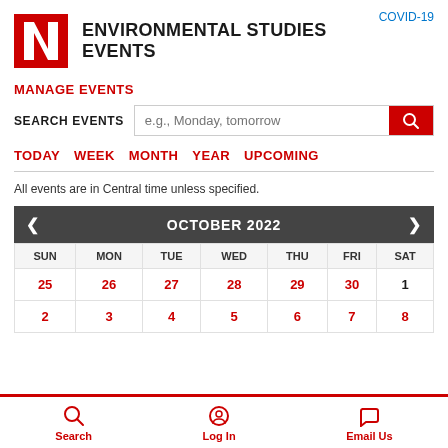COVID-19
ENVIRONMENTAL STUDIES EVENTS
MANAGE EVENTS
SEARCH EVENTS  e.g., Monday, tomorrow
TODAY
WEEK
MONTH
YEAR
UPCOMING
All events are in Central time unless specified.
| SUN | MON | TUE | WED | THU | FRI | SAT |
| --- | --- | --- | --- | --- | --- | --- |
| 25 | 26 | 27 | 28 | 29 | 30 | 1 |
| 2 | 3 | 4 | 5 | 6 | 7 | 8 |
Search   Log In   Email Us